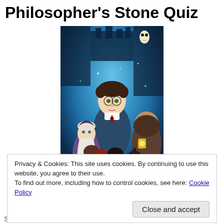Philosopher's Stone Quiz
[Figure (photo): Harry Potter and the Philosopher's Stone movie poster showing Harry Potter in the center with other characters including Dumbledore, Hagrid, Hermione, Ron, Snape, and McGonagall against a blue magical background]
Privacy & Cookies: This site uses cookies. By continuing to use this website, you agree to their use.
To find out more, including how to control cookies, see here: Cookie Policy
Close and accept
Stone's Harry Potter and the Philosopher's Stone an ultimate